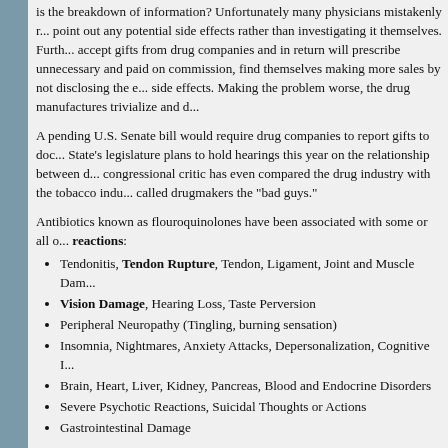is the breakdown of information? Unfortunately many physicians mistakenly r... point out any potential side effects rather than investigating it themselves. Furth... accept gifts from drug companies and in return will prescribe unnecessary and ... paid on commission, find themselves making more sales by not disclosing the e... side effects. Making the problem worse, the drug manufactures trivialize and d...
A pending U.S. Senate bill would require drug companies to report gifts to doc... State's legislature plans to hold hearings this year on the relationship between d... congressional critic has even compared the drug industry with the tobacco indu... called drugmakers the "bad guys."
Antibiotics known as flouroquinolones have been associated with some or all of these reactions:
Tendonitis, Tendon Rupture, Tendon, Ligament, Joint and Muscle Dam...
Vision Damage, Hearing Loss, Taste Perversion
Peripheral Neuropathy (Tingling, burning sensation)
Insomnia, Nightmares, Anxiety Attacks, Depersonalization, Cognitive I...
Brain, Heart, Liver, Kidney, Pancreas, Blood and Endocrine Disorders
Severe Psychotic Reactions, Suicidal Thoughts or Actions
Gastrointestinal Damage
Compounding the problem, there are numerous drugs which should not be taken with these antibiotics. There are increased risks of injury when they are taken in combinations with steroids (e.g.: Prednisone, Flovent, Nasarel, Azmacort, Advair Disku, Methylprednisolom... Desoximetasone Cream, and Sterapred) and when taken in combinations with non-steroidal anti-inflammatory drugs (NSAIDs) (e.g.: Motrin, Pamprin, Aleve, Advil, and I...
Physicians are frequently not aware of these contraindications and prescribe d...